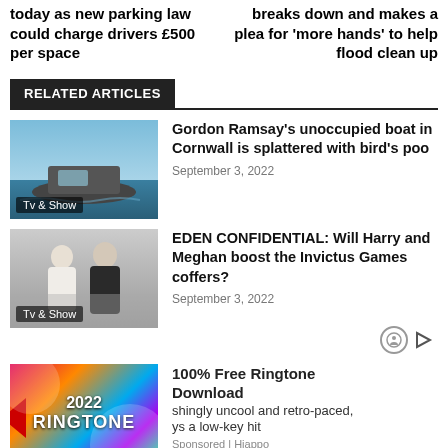today as new parking law could charge drivers £500 per space
breaks down and makes a plea for 'more hands' to help flood clean up
RELATED ARTICLES
[Figure (photo): Gordon Ramsay's boat on water, with 'Tv & Show' label overlay]
Gordon Ramsay's unoccupied boat in Cornwall is splattered with bird's poo
September 3, 2022
[Figure (photo): Harry and Meghan standing together, with 'Tv & Show' label overlay]
EDEN CONFIDENTIAL: Will Harry and Meghan boost the Invictus Games coffers?
September 3, 2022
[Figure (infographic): 2022 Ringtone advertisement with colorful background]
100% Free Ringtone Download
shingly uncool and retro-paced, ys a low-key hit
Sponsored | Hiappo
mber 3, 2022